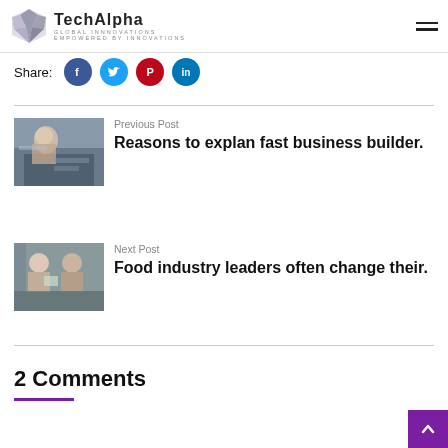TechAlpha — GLOBAL INNNOVATIONS EMPOWERED BY INNOVATIONS
Share:
Previous Post
Reasons to explan fast business builder.
[Figure (photo): Woman with glasses working at a desk with papers]
Next Post
Food industry leaders often change their.
[Figure (photo): Two businessmen in suits shaking hands]
2 Comments